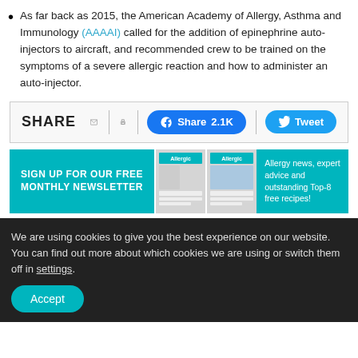As far back as 2015, the American Academy of Allergy, Asthma and Immunology (AAAAI) called for the addition of epinephrine auto-injectors to aircraft, and recommended crew to be trained on the symptoms of a severe allergic reaction and how to administer an auto-injector.
[Figure (other): Share bar with SHARE label, email icon, print icon, Facebook Share 2.1K button, and Tweet button]
[Figure (infographic): Newsletter signup banner: 'SIGN UP FOR OUR FREE MONTHLY NEWSLETTER' on teal background with two magazine cover thumbnails and text 'Allergy news, expert advice and outstanding Top-8 free recipes!']
We are using cookies to give you the best experience on our website.
You can find out more about which cookies we are using or switch them off in settings.